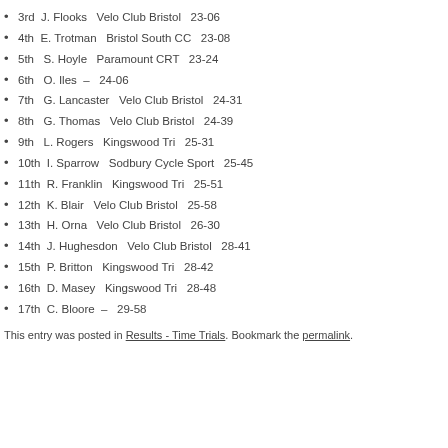3rd  J. Flooks   Velo Club Bristol   23-06
4th  E. Trotman   Bristol South CC   23-08
5th   S. Hoyle   Paramount CRT   23-24
6th   O. Iles  –   24-06
7th   G. Lancaster   Velo Club Bristol   24-31
8th   G. Thomas   Velo Club Bristol   24-39
9th   L. Rogers   Kingswood Tri   25-31
10th  I. Sparrow   Sodbury Cycle Sport   25-45
11th  R. Franklin   Kingswood Tri   25-51
12th  K. Blair   Velo Club Bristol   25-58
13th  H. Orna   Velo Club Bristol   26-30
14th  J. Hughesdon   Velo Club Bristol   28-41
15th  P. Britton   Kingswood Tri   28-42
16th  D. Masey   Kingswood Tri   28-48
17th  C. Bloore  –   29-58
This entry was posted in Results - Time Trials. Bookmark the permalink.